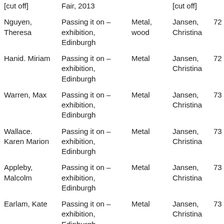| Artist | Exhibition/Event | Medium | Photographer | Page |  |
| --- | --- | --- | --- | --- | --- |
| [cut off] | Fair, 2013 | [cut off] | [cut off] |  |  |
| Nguyen, Theresa | Passing it on – exhibition, Edinburgh | Metal, wood | Jansen, Christina | 72 |  |
| Hanid. Miriam | Passing it on – exhibition, Edinburgh | Metal | Jansen, Christina | 72 |  |
| Warren, Max | Passing it on – exhibition, Edinburgh | Metal | Jansen, Christina | 73 |  |
| Wallace. Karen Marion | Passing it on – exhibition, Edinburgh | Metal | Jansen, Christina | 73 |  |
| Appleby, Malcolm | Passing it on – exhibition, Edinburgh | Metal | Jansen, Christina | 73 |  |
| Earlam, Kate | Passing it on – exhibition, Edinburgh | Metal | Jansen, Christina | 73 |  |
| Deacon, Richard | Tate Britain – exhibition, 2014 | Sculpture | Weston, Neville | 74 | 76 |